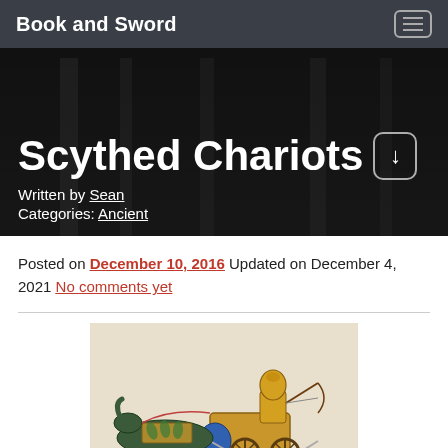Book and Sword
Scythed Chariots
Written by Sean
Categories: Ancient
Posted on December 10, 2016 Updated on December 4, 2021 No comments yet
[Figure (illustration): Illustration of an ancient scythed chariot with a warrior archer in golden armor riding a chariot pulled by a dark horse, decorated with colorful armor and scythes.]